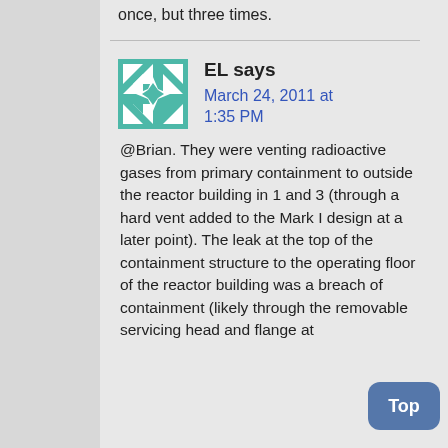once, but three times.
EL says
March 24, 2011 at 1:35 PM
@Brian. They were venting radioactive gases from primary containment to outside the reactor building in 1 and 3 (through a hard vent added to the Mark I design at a later point). The leak at the top of the containment structure to the operating floor of the reactor building was a breach of containment (likely through the removable servicing head and flange at